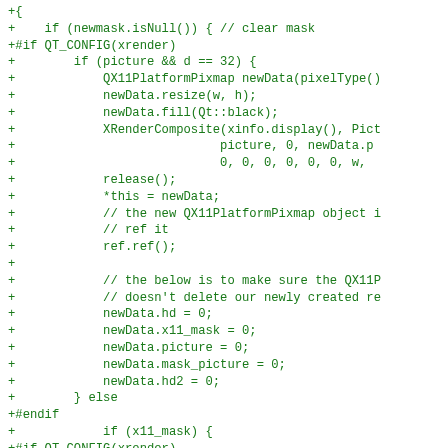+{
+    if (newmask.isNull()) { // clear mask
+#if QT_CONFIG(xrender)
+        if (picture && d == 32) {
+            QX11PlatformPixmap newData(pixelType()
+            newData.resize(w, h);
+            newData.fill(Qt::black);
+            XRenderComposite(xinfo.display(), Pict
+                            picture, 0, newData.p
+                            0, 0, 0, 0, 0, 0, w,
+            release();
+            *this = newData;
+            // the new QX11PlatformPixmap object i
+            // ref it
+            ref.ref();
+
+            // the below is to make sure the QX11P
+            // doesn't delete our newly created re
+            newData.hd = 0;
+            newData.x11_mask = 0;
+            newData.picture = 0;
+            newData.mask_picture = 0;
+            newData.hd2 = 0;
+        } else
+#endif
+            if (x11_mask) {
+#if QT_CONFIG(xrender)
+                if (picture) {
+                    XRenderPictureAttributes attrs
+                    attrs.alpha_map = 0;
+                    XRenderChangePicture(xinfo.di